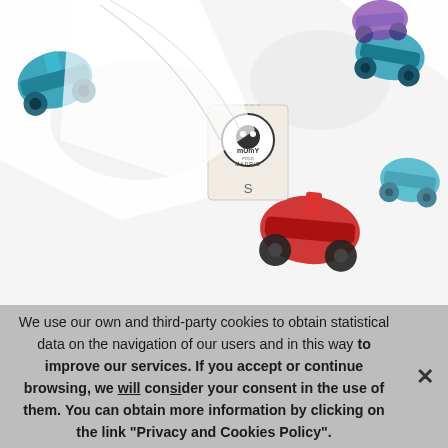[Figure (photo): Close-up photo of a white shirt with a printed pattern featuring colorful scooters/Vespas in red and teal/blue-green colors. A clothing label from 'mUmY MADRID' is visible at the collar, and a size tag reading 'S' is also shown.]
We use our own and third-party cookies to obtain statistical data on the navigation of our users and in this way to improve our services. If you accept or continue browsing, we will consider your consent in the use of them. You can obtain more information by clicking on the link "Privacy and Cookies Policy".